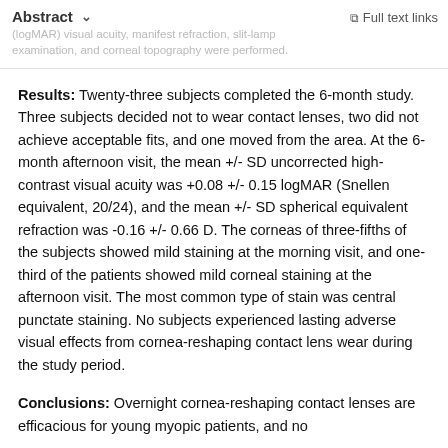Abstract  ∨   Full text links
(logMAR) visual acuity, manifest refraction, slit-lamp examination, and corneal topography were performed.
Results: Twenty-three subjects completed the 6-month study. Three subjects decided not to wear contact lenses, two did not achieve acceptable fits, and one moved from the area. At the 6-month afternoon visit, the mean +/- SD uncorrected high-contrast visual acuity was +0.08 +/- 0.15 logMAR (Snellen equivalent, 20/24), and the mean +/- SD spherical equivalent refraction was -0.16 +/- 0.66 D. The corneas of three-fifths of the subjects showed mild staining at the morning visit, and one-third of the patients showed mild corneal staining at the afternoon visit. The most common type of stain was central punctate staining. No subjects experienced lasting adverse visual effects from cornea-reshaping contact lens wear during the study period.
Conclusions: Overnight cornea-reshaping contact lenses are efficacious for young myopic patients, and no